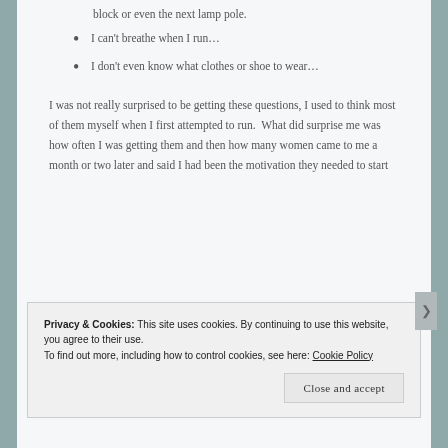block or even the next lamp pole.
I can't breathe when I run…
I don't even know what clothes or shoe to wear…
I was not really surprised to be getting these questions, I used to think most of them myself when I first attempted to run. What did surprise me was how often I was getting them and then how many women came to me a month or two later and said I had been the motivation they needed to start
Privacy & Cookies: This site uses cookies. By continuing to use this website, you agree to their use.
To find out more, including how to control cookies, see here: Cookie Policy